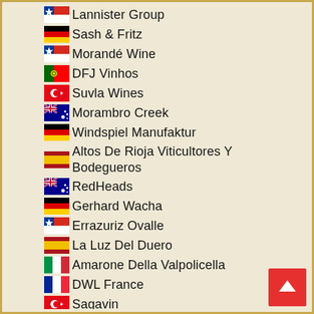Lannister Group
Sash & Fritz
Morandé Wine
DFJ Vinhos
Suvla Wines
Morambro Creek
Windspiel Manufaktur
Altos De Rioja Viticultores Y Bodegueros
RedHeads
Gerhard Wacha
Errazuriz Ovalle
La Luz Del Duero
Amarone Della Valpolicella
DWL France
Sagavin
Kilikanoon Wines
Serafino Wines
Chile diVino
Viña Casablanca
Bodegas Piqueras